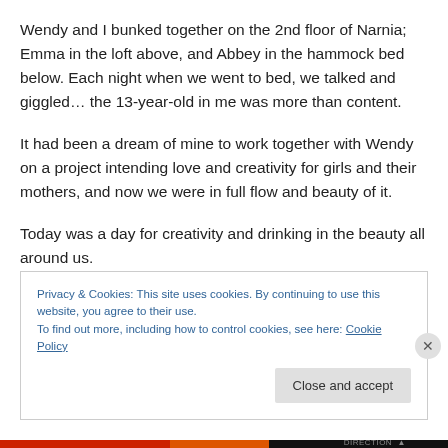Wendy and I bunked together on the 2nd floor of Narnia; Emma in the loft above, and Abbey in the hammock bed below. Each night when we went to bed, we talked and giggled… the 13-year-old in me was more than content.
It had been a dream of mine to work together with Wendy on a project intending love and creativity for girls and their mothers, and now we were in full flow and beauty of it.
Today was a day for creativity and drinking in the beauty all around us.
Privacy & Cookies: This site uses cookies. By continuing to use this website, you agree to their use.
To find out more, including how to control cookies, see here: Cookie Policy